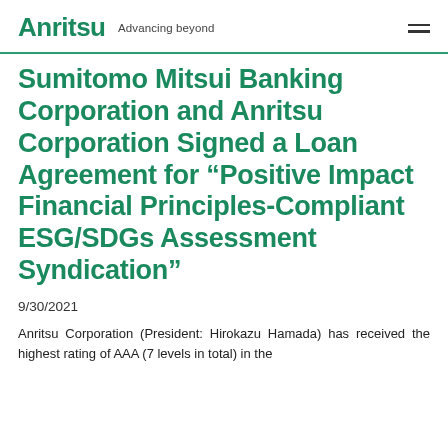Anritsu Advancing beyond
Sumitomo Mitsui Banking Corporation and Anritsu Corporation Signed a Loan Agreement for “Positive Impact Financial Principles-Compliant ESG/SDGs Assessment Syndication”
9/30/2021
Anritsu Corporation (President: Hirokazu Hamada) has received the highest rating of AAA (7 levels in total) in the